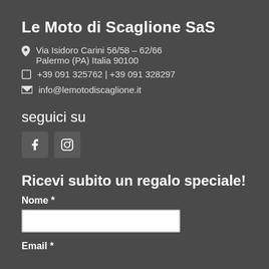Le Moto di Scaglione SaS
Via Isidoro Carini 56/58 – 62/66 Palermo (PA) Italia 90100
+39 091 325762 | +39 091 328297
info@lemotodiscaglione.it
seguici su
[Figure (other): Social media icons for Facebook and Instagram]
Ricevi subito un regalo speciale!
Nome *
Email *